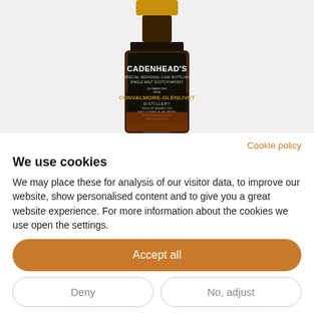[Figure (photo): Photo of a Cadenhead's Single Malt Scotch Whisky bottle from Convalmore-Glenlivet Distillery, showing a dark bottle with a gold cap and a detailed black label.]
Cookie policy
We use cookies
We may place these for analysis of our visitor data, to improve our website, show personalised content and to give you a great website experience. For more information about the cookies we use open the settings.
Accept all
Deny
No, adjust